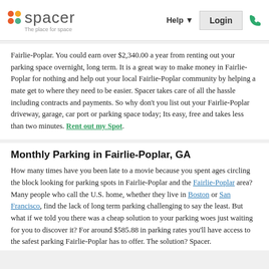spacer - The place for space | Help | Login
Fairlie-Poplar. You could earn over $2,340.00 a year from renting out your parking space overnight, long term. It is a great way to make money in Fairlie-Poplar for nothing and help out your local Fairlie-Poplar community by helping a mate get to where they need to be easier. Spacer takes care of all the hassle including contracts and payments. So why don't you list out your Fairlie-Poplar driveway, garage, car port or parking space today; Its easy, free and takes less than two minutes. Rent out my Spot.
Monthly Parking in Fairlie-Poplar, GA
How many times have you been late to a movie because you spent ages circling the block looking for parking spots in Fairlie-Poplar and the Fairlie-Poplar area? Many people who call the U.S. home, whether they live in Boston or San Francisco, find the lack of long term parking challenging to say the least. But what if we told you there was a cheap solution to your parking woes just waiting for you to discover it? For around $585.88 in parking rates you'll have access to the safest parking Fairlie-Poplar has to offer. The solution? Spacer.